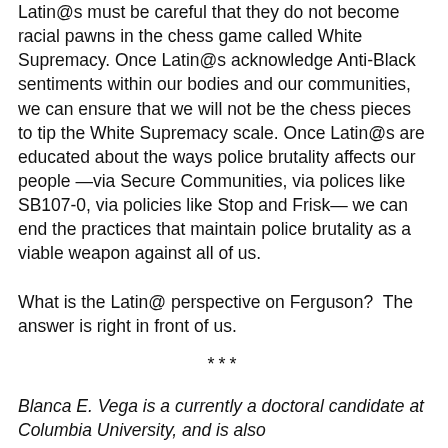Latin@s must be careful that they do not become racial pawns in the chess game called White Supremacy. Once Latin@s acknowledge Anti-Black sentiments within our bodies and our communities, we can ensure that we will not be the chess pieces to tip the White Supremacy scale. Once Latin@s are educated about the ways police brutality affects our people —via Secure Communities, via polices like SB107-0, via policies like Stop and Frisk— we can end the practices that maintain police brutality as a viable weapon against all of us.

What is the Latin@ perspective on Ferguson?  The answer is right in front of us.
***
Blanca E. Vega is a currently a doctoral candidate at Columbia University, and is also